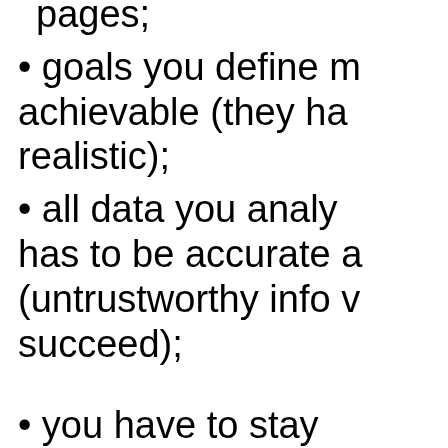pages;
• goals you define must be achievable (they ha… realistic);
• all data you analy… has to be accurate a… (untrustworthy info w… succeed);
• you have to stay…